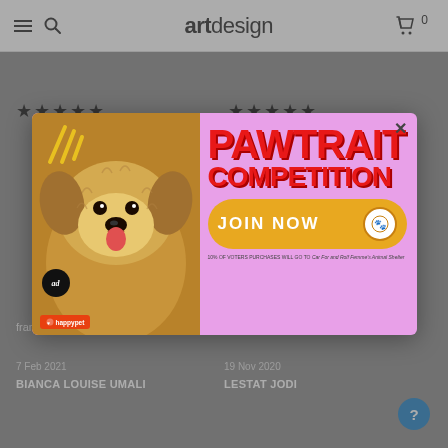artdesign
★★★★★ (left review stars)
★★★★★ (right review stars)
[Figure (screenshot): Modal popup advertisement for 'PAWTRAIT COMPETITION' by happypet, showing a fluffy dog photo on the left and bold red text on pink background on the right, with a gold 'JOIN NOW' button. Small print: '10% OF VOTERS PURCHASES WILL GO TO Car For and Rolf Femme's Animal Shelter']
frames prints from artdesign!
promote as well.
7 Feb 2021
BIANCA LOUISE UMALI
19 Nov 2020
LESTAT JODI